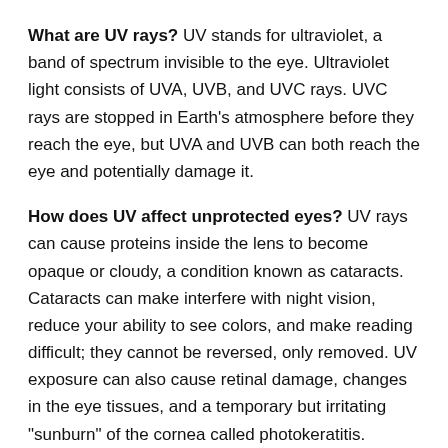What are UV rays? UV stands for ultraviolet, a band of spectrum invisible to the eye. Ultraviolet light consists of UVA, UVB, and UVC rays. UVC rays are stopped in Earth's atmosphere before they reach the eye, but UVA and UVB can both reach the eye and potentially damage it.
How does UV affect unprotected eyes? UV rays can cause proteins inside the lens to become opaque or cloudy, a condition known as cataracts. Cataracts can make interfere with night vision, reduce your ability to see colors, and make reading difficult; they cannot be reversed, only removed. UV exposure can also cause retinal damage, changes in the eye tissues, and a temporary but irritating "sunburn" of the cornea called photokeratitis.
How do I know my glasses will protect my eyes? Choose glasses